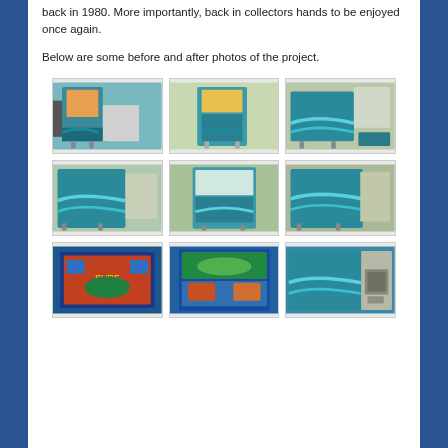back in 1980. More importantly, back in collectors hands to be enjoyed once again.
Below are some before and after photos of the project.
[Figure (photo): Grid of 9 photos showing before and after photos of a pinball machine restoration project. The pinball machine has a teal/blue ocean wave artwork cabinet.]